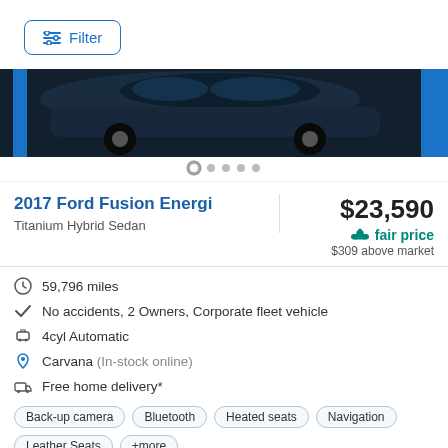Filter
[Figure (photo): Partial view of a dark-colored car, likely a Ford Fusion, with a blue sidebar on the right. Carousel dots visible below the image.]
2017 Ford Fusion Energi
Titanium Hybrid Sedan
$23,590
fair price
$309 above market
59,796 miles
No accidents, 2 Owners, Corporate fleet vehicle
4cyl Automatic
Carvana (In-stock online)
Free home delivery*
Back-up camera   Bluetooth   Heated seats   Navigation   Leather Seats   +more
Check Availability